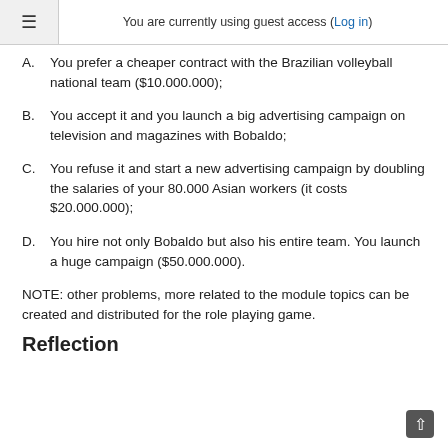You are currently using guest access (Log in)
A. You prefer a cheaper contract with the Brazilian volleyball national team ($10.000.000);
B. You accept it and you launch a big advertising campaign on television and magazines with Bobaldo;
C. You refuse it and start a new advertising campaign by doubling the salaries of your 80.000 Asian workers (it costs $20.000.000);
D. You hire not only Bobaldo but also his entire team. You launch a huge campaign ($50.000.000).
NOTE: other problems, more related to the module topics can be created and distributed for the role playing game.
Reflection